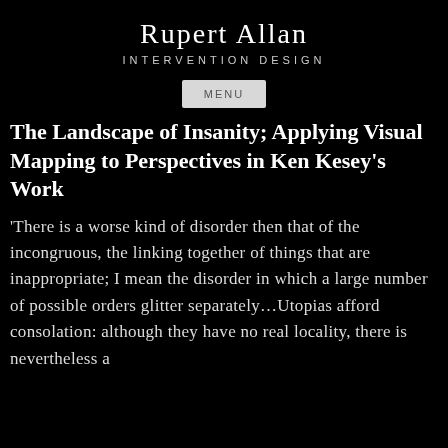Rupert Allan
INTERVENTION DESIGN
The Landscape of Insanity; Applying Visual Mapping to Perspectives in Ken Kesey's Work
'There is a worse kind of disorder then that of the incongruous, the linking together of things that are inappropriate; I mean the disorder in which a large number of possible orders glitter separately…Utopias afford consolation: although they have no real locality, there is nevertheless a